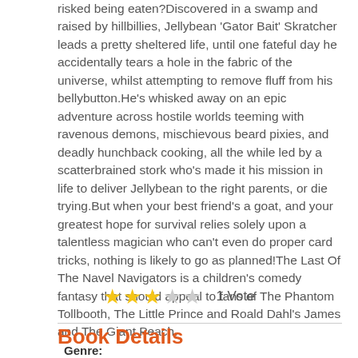risked being eaten?Discovered in a swamp and raised by hillbillies, Jellybean 'Gator Bait' Skratcher leads a pretty sheltered life, until one fateful day he accidentally tears a hole in the fabric of the universe, whilst attempting to remove fluff from his bellybutton.He's whisked away on an epic adventure across hostile worlds teeming with ravenous demons, mischievous beard pixies, and deadly hunchback cooking, all the while led by a scatterbrained stork who's made it his mission in life to deliver Jellybean to the right parents, or die trying.But when your best friend's a goat, and your greatest hope for survival relies solely upon a talentless magician who can't even do proper card tricks, nothing is likely to go as planned!The Last Of The Navel Navigators is a children's comedy fantasy that should appeal to fans of The Phantom Tollbooth, The Little Prince and Roald Dahl's James and The Giant Peach.
3 out of 5 stars — 1 Vote
Book Details
Genre: